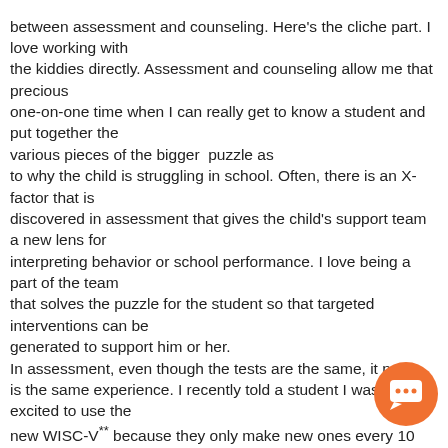between assessment and counseling. Here's the cliche part. I love working with the kiddies directly. Assessment and counseling allow me that precious one-on-one time when I can really get to know a student and put together the various pieces of the bigger puzzle as to why the child is struggling in school. Often, there is an X-factor that is discovered in assessment that gives the child's support team a new lens for interpreting behavior or school performance. I love being a part of the team that solves the puzzle for the student so that targeted interventions can be generated to support him or her. In assessment, even though the tests are the same, it never is the same experience. I recently told a student I was so excited to use the new WISC-V** because they only make new ones every 10 years or so and I've been giving the same test for 10 years, and the kid says, "Dang! That's gotta get boring!" The thing is, it doesn't because each kid approaches the tasks so differently, and every once in a while, you get a hilarious new answer to one of the questions. I wish I could post some, but I fear the WISC Test Security Police. So what's the worst? It's also assessment. The absolute worst is writing the report. It's painful and tedious. And it's
[Figure (other): Orange circular chat button with speech bubble icon in bottom right corner]